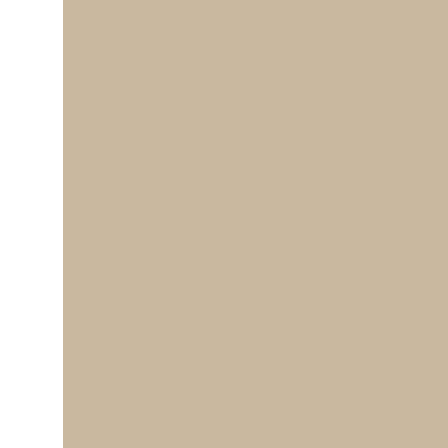with her in the autumn than now, I made haste
"We reached the house where Kisotchka's mo... the other side of the door Kisotchka suddenly the Cross over me several times and, clutchin
" 'Till to-morrow,' she said, and disappeared i
"I crossed to the opposite pavement and from darkness, then in one of the windows there wa candle; the flame grew, gave more light, and l
" 'They did not expect her,' I thought.
"Returning to my hotel room I undressed, dra had bought that day in the bazaar, went to bec a tourist.
"In the morning I woke up with a headache ar
" 'What's the matter?' I asked myself, trying to
"And I put down my uneasiness to the dread t going away, and that I should have to tell lies things, and left the hotel, giving instructions t o'clock train in the evening. I spent the whole you see, my philosophy did not prevent me fr
"All the while that I was at my friend's, and a I fancied that I was afraid of meeting with Kis